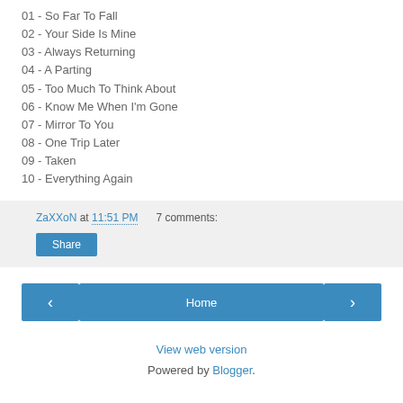01 - So Far To Fall
02 - Your Side Is Mine
03 - Always Returning
04 - A Parting
05 - Too Much To Think About
06 - Know Me When I'm Gone
07 - Mirror To You
08 - One Trip Later
09 - Taken
10 - Everything Again
ZaXXoN at 11:51 PM   7 comments:
Share
< Home >
View web version
Powered by Blogger.